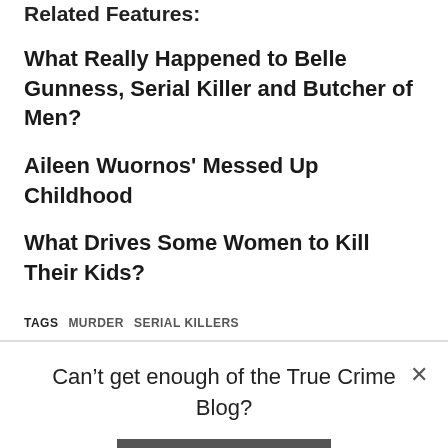Related Features:
What Really Happened to Belle Gunness, Serial Killer and Butcher of Men?
Aileen Wuornos' Messed Up Childhood
What Drives Some Women to Kill Their Kids?
TAGS  MURDER  SERIAL KILLERS
Can't get enough of the True Crime Blog?
SIGN ME UP